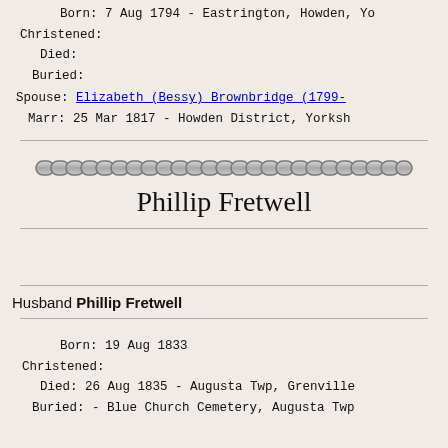Born: 7 Aug 1794 - Eastrington, Howden, Yo
Christened:
Died:
Buried:
Spouse: Elizabeth (Bessy) Brownbridge (1799-
Marr: 25 Mar 1817 - Howden District, Yorksh
[Figure (illustration): Decorative chain image made of interlocking chain links]
Phillip Fretwell
Husband Phillip Fretwell
Born: 19 Aug 1833
Christened:
Died: 26 Aug 1835 - Augusta Twp, Grenville
Buried: - Blue Church Cemetery, Augusta Twp